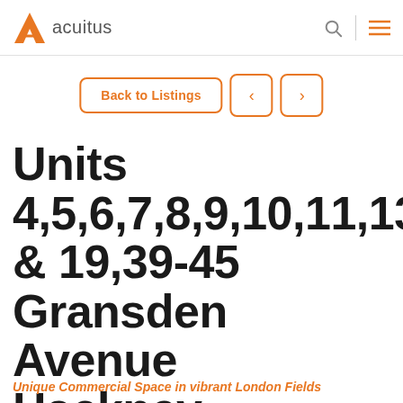acuitus
Back to Listings
Units 4,5,6,7,8,9,10,11,13,14,15,16, & 19,39-45 Gransden Avenue Hackney London E8 3QA
Unique Commercial Space in vibrant London Fields